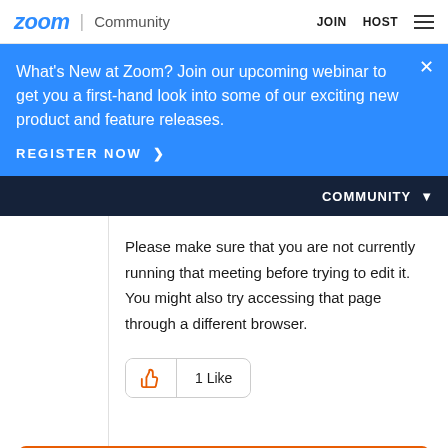zoom | Community    JOIN    HOST
What's New at Zoom? Join our upcoming webinar to get you a first-hand look into some of our exciting new product and feature releases.
REGISTER NOW >
COMMUNITY ▾
Please make sure that you are not currently running that meeting before trying to edit it. You might also try accessing that page through a different browser.
1 Like